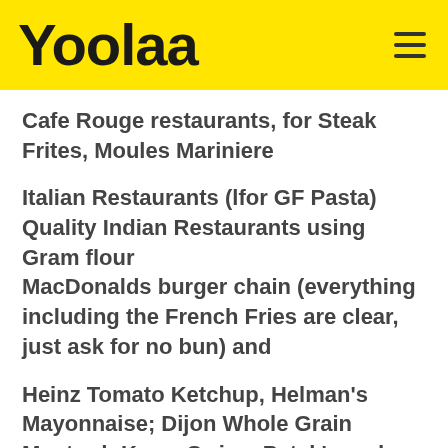Yoolaa
Cafe Rouge restaurants, for Steak Frites, Moules Mariniere
Italian Restaurants (lfor GF Pasta)
Quality Indian Restaurants using Gram flour
MacDonalds burger chain (everything including the French Fries are clear, just ask for no bun) and
Heinz Tomato Ketchup, Helman's Mayonnaise; Dijon Whole Grain Mustard; Knorr Swiss; Patak's and Sharwood's Curry pastes and pappadums,
Querizo and continental saucisson: